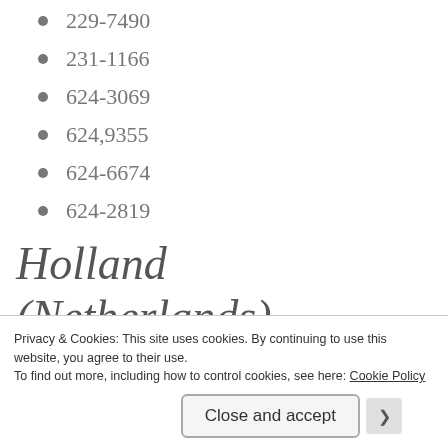229-7490
231-1166
624-3069
624,9355
624-6674
624-2819
Holland (Netherlands)
Emergency: 112
Suicide Hotlines:
Privacy & Cookies: This site uses cookies. By continuing to use this website, you agree to their use.
To find out more, including how to control cookies, see here: Cookie Policy